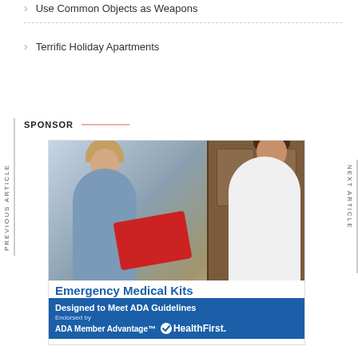Use Common Objects as Weapons
Terrific Holiday Apartments
SPONSOR
[Figure (photo): Advertisement photo showing a nurse in scrubs and a doctor in a white coat reviewing documents, with text 'Emergency Medical Kits - Designed to Meet ADA Guidelines - Endorsed by ADA Member Advantage - HealthFirst']